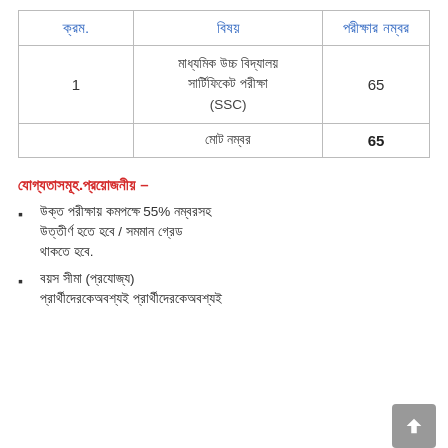| ক্রম. | বিষয় | পরীক্ষার নম্বর |
| --- | --- | --- |
| 1 | মাধ্যমিক উচ্চ বিদ্যালয় সার্টিফিকেট (SSC) | 65 |
|  | মোট নম্বর | 65 |
যোগ্যতাসমূহ.প্রয়োজনীয় –
উক্ত পরীক্ষায় কমপক্ষে 55% নম্বরসহ উত্তীর্ণ হতে হবে / সমমান গ্রেড থাকতে হবে.
বয়স সীমা (প্রযোজ্য) প্রার্থীদেরকেঅবশ্যই প্রার্থীদেরকেঅবশ্যই